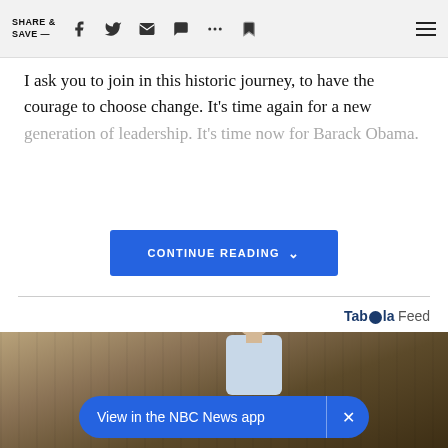SHARE & SAVE —
I ask you to join in this historic journey, to have the courage to choose change. It's time again for a new generation of leadership. It's time now for Barack Obama.
CONTINUE READING
Taboola Feed
[Figure (photo): Man in light blue shirt standing in front of wooden wall background, with NBC News app banner overlay reading 'View in the NBC News app' with a close button]